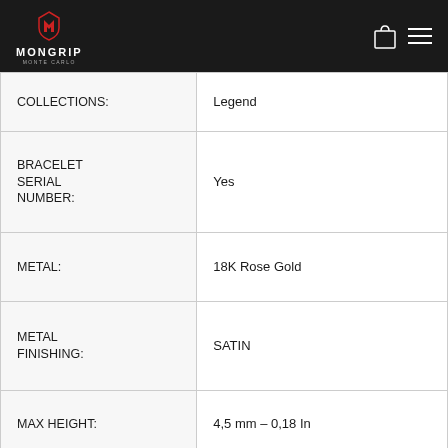MONGRIP MONTE CARLO
| COLLECTIONS: | Legend |
| BRACELET SERIAL NUMBER: | Yes |
| METAL: | 18K Rose Gold |
| METAL FINISHING: | SATIN |
| MAX HEIGHT: | 4,5 mm – 0,18 In |
| MAX WIDTH: | 11,5 mm – 0,45 In |
| CLASP: | Hidden |
|  |  |